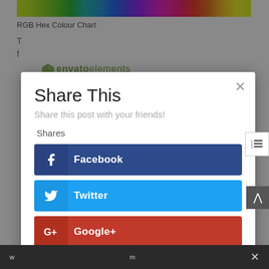[Figure (illustration): RGB Hex Colour Chart colorful strip at top of page]
RGB Hex Colour Chart
[Figure (logo): Envato elements logo with green leaf icon]
Share This
Share this post with your friends!
Shares
Facebook
Twitter
Google+
Pinterest